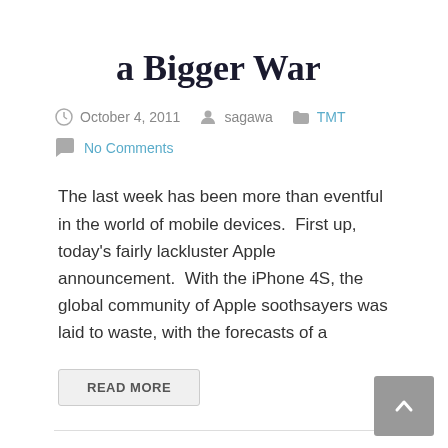a Bigger War
October 4, 2011   sagawa   TMT
No Comments
The last week has been more than eventful in the world of mobile devices.  First up, today's fairly lackluster Apple announcement.  With the iPhone 4S, the global community of Apple soothsayers was laid to waste, with the forecasts of a
READ MORE
Patent Wars!